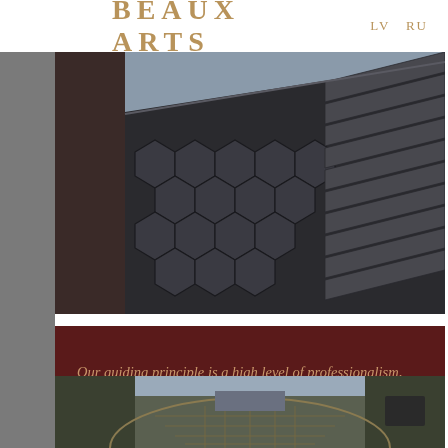BEAUX ARTS  LV  RU
[Figure (photo): Close-up photo of a dark grey hexagonal tile roof with ridged metal roofing panels, taken from a low angle showing the building corner]
Our guiding principle is a high level of professionalism, targeting impeccable results and transparent project management.
[Figure (photo): Outdoor construction photo showing a curved concrete structure with grid reinforcement, surrounded by trees in winter]